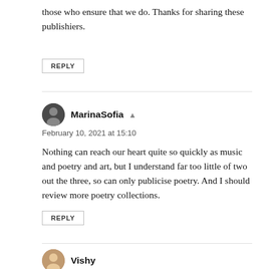those who ensure that we do. Thanks for sharing these publishiers.
REPLY
MarinaSofia
February 10, 2021 at 15:10
Nothing can reach our heart quite so quickly as music and poetry and art, but I understand far too little of two out the three, so can only publicise poetry. And I should review more poetry collections.
REPLY
Vishy